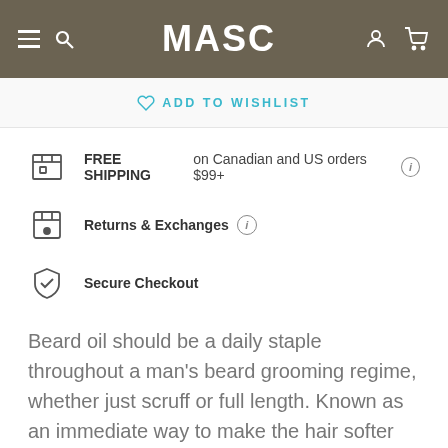MASC
ADD TO WISHLIST
FREE SHIPPING on Canadian and US orders $99+
Returns & Exchanges
Secure Checkout
Beard oil should be a daily staple throughout a man's beard grooming regime, whether just scruff or full length. Known as an immediate way to make the hair softer and more manageable, this beard oil also combats the itch and dry skin by moisturizing the skin underneath. The conditioning...